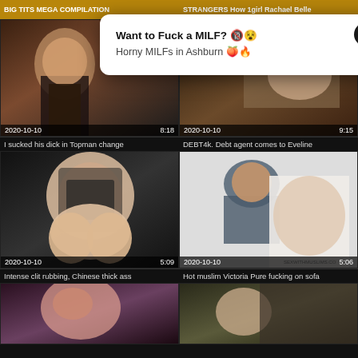BIG TITS MEGA COMPILATION
STRANGERS How 1girl Rachael Belle
[Figure (photo): Video thumbnail showing woman in dark outfit, date 2020-10-10, duration 8:18]
[Figure (photo): Video thumbnail close-up, date 2020-10-10, duration 9:15]
I sucked his dick in Topman change
DEBT4k. Debt agent comes to Eveline
[Figure (photo): Video thumbnail showing dark bodystocking, date 2020-10-10, duration 5:09]
[Figure (photo): Video thumbnail showing woman in hijab, date 2020-10-10, duration 5:06, watermark SEXWITHMUSLIMS.CO]
Intense clit rubbing, Chinese thick ass
Hot muslim Victoria Pure fucking on sofa
[Figure (photo): Video thumbnail partial, redhead woman]
[Figure (photo): Video thumbnail partial, dark-haired woman]